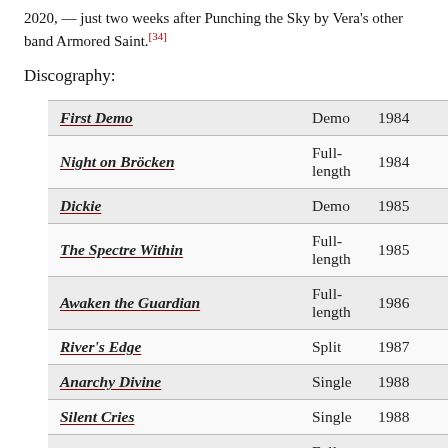2020, — just two weeks after Punching the Sky by Vera's other band Armored Saint.[34]
Discography:
| Album | Type | Year |
| --- | --- | --- |
| First Demo | Demo | 1984 |
| Night on Bröcken | Full-length | 1984 |
| Dickie | Demo | 1985 |
| The Spectre Within | Full-length | 1985 |
| Awaken the Guardian | Full-length | 1986 |
| River's Edge | Split | 1987 |
| Anarchy Divine | Single | 1988 |
| Silent Cries | Single | 1988 |
| No Exit | Full-length | 1988 |